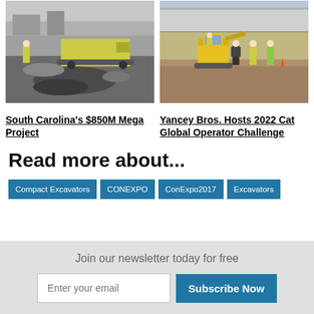[Figure (photo): Construction workers on a road paving project with a paving machine laying asphalt on a road surface]
South Carolina's $850M Mega Project
[Figure (photo): Construction workers in yellow safety vests gathered around a small yellow excavator on a grass field near a building]
Yancey Bros. Hosts 2022 Cat Global Operator Challenge
Read more about...
Compact Excavators
CONEXPO
ConExpo2017
Excavators
Join our newsletter today for free